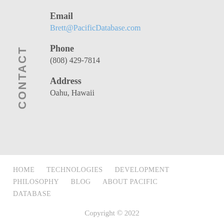CONTACT
Email
Brett@PacificDatabase.com
Phone
(808) 429-7814
Address
Oahu, Hawaii
HOME   TECHNOLOGIES   DEVELOPMENT   PHILOSOPHY   BLOG   ABOUT PACIFIC DATABASE
Copyright © 2022